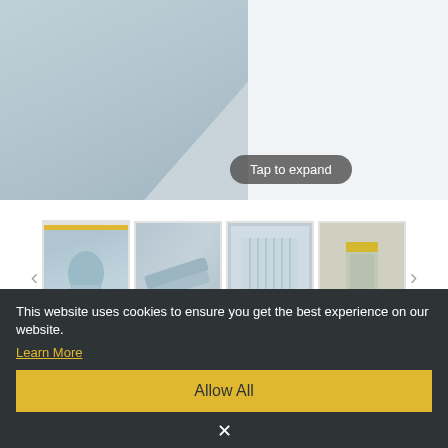[Figure (photo): Main product image showing blue-grey fabric texture with a diagonal composition and a 'Tap to expand' button overlay]
[Figure (photo): Thumbnail strip with four product images: rolled fabric slat, laid-out slats angled, installed blind frontal view, and slat with yellow edge detail. Navigation arrows on left and right.]
Senna Mineral Replacement Slats
From £0.90
ORDER SAMPLE
This website uses cookies to ensure you get the best experience on our website.
Learn More
Allow All
×